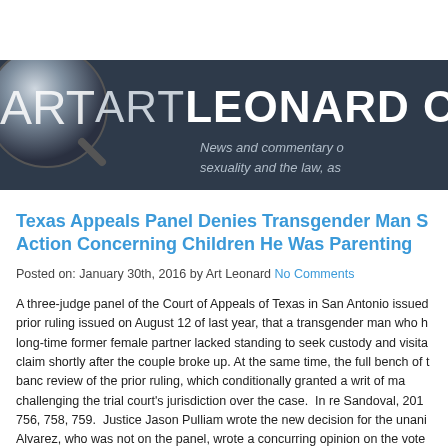[Figure (logo): Art Leonard Observer website header banner with circular logo on left and site title text on dark navy background. Subtitle reads 'News and commentary on sexuality and the law, as...']
Texas Appeals Panel Denies Transgender Man Standing to Bring Action Concerning Children He Was Parenting
Posted on: January 30th, 2016 by Art Leonard No Comments
A three-judge panel of the Court of Appeals of Texas in San Antonio issued a prior ruling issued on August 12 of last year, that a transgender man who h long-time former female partner lacked standing to seek custody and visita claim shortly after the couple broke up. At the same time, the full bench of t banc review of the prior ruling, which conditionally granted a writ of ma challenging the trial court's jurisdiction over the case.  In re Sandoval, 201 756, 758, 759.  Justice Jason Pulliam wrote the new decision for the unani Alvarez, who was not on the panel, wrote a concurring opinion on the vote by Three D. Chapa also wrote the majority opinion dissenting from the